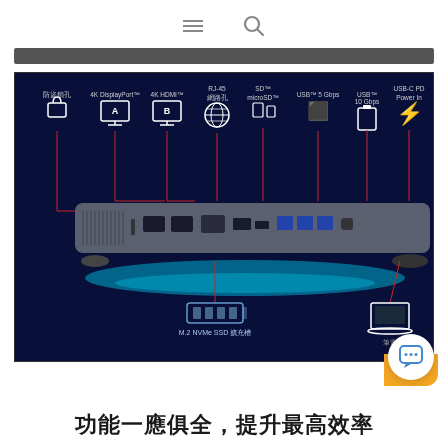☰  🔍
[Figure (photo): Product diagram of a USB-C hub/docking station showing its ports labeled in Chinese and English: 防盜鎖孔 (security lock), 4K DisplayPort, 4K HDMI, RJ-45 網路孔 (ethernet), SD/microSD, USB 5 Gbps, USB 10 Gbps, USB-C PD Power In, M.2 NVMe SSD 擴充槽 (expansion slot), and 筆電 (laptop). The device is shown in profile with glowing teal light underneath on a dark blue background.]
功能一應俱全，提升最高效率